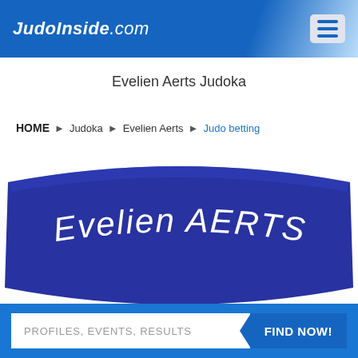JudoInside.com
Evelien Aerts Judoka
HOME ▶ Judoka ▶ Evelien Aerts ▶ Judo betting
[Figure (illustration): Blue curved banner with text 'Evelien AERTS' in white italic font on a dark blue background]
PROFILES, EVENTS, RESULTS   FIND NOW!